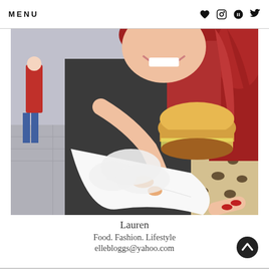MENU | ♥ instagram pinterest twitter
[Figure (photo): A young woman with long red hair holding a burger toward the camera, smiling, wearing a leopard print coat and black top, outdoors on a city street]
Lauren
Food. Fashion. Lifestyle
ellebloggs@yahoo.com